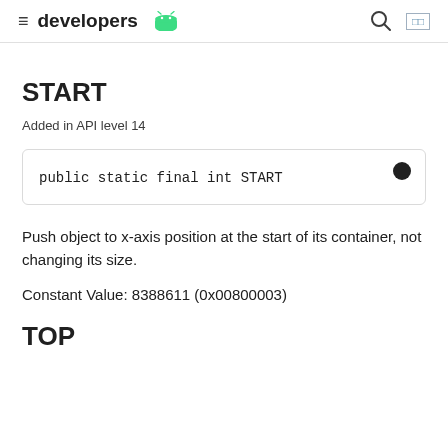developers [android logo]
START
Added in API level 14
public static final int START
Push object to x-axis position at the start of its container, not changing its size.
Constant Value: 8388611 (0x00800003)
TOP